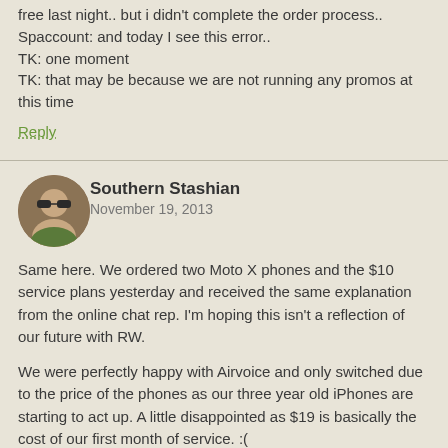free last night.. but i didn't complete the order process.. Spaccount: and today I see this error.. TK: one moment TK: that may be because we are not running any promos at this time
Reply
Southern Stashian
November 19, 2013
Same here. We ordered two Moto X phones and the $10 service plans yesterday and received the same explanation from the online chat rep. I'm hoping this isn't a reflection of our future with RW.
We were perfectly happy with Airvoice and only switched due to the price of the phones as our three year old iPhones are starting to act up. A little disappointed as $19 is basically the cost of our first month of service. :(
Reply
Mrs. Money Mustache
November 19, 2013